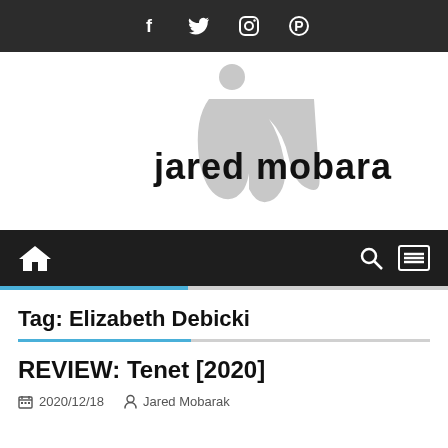Social icons: Facebook, Twitter, Instagram, Pinterest
[Figure (logo): Jared Mobarak blog logo with stylized 'jm' monogram in gray and the text 'jared mobarak' in black]
Navigation bar with home icon, search icon, and menu icon
Tag: Elizabeth Debicki
REVIEW: Tenet [2020]
2020/12/18  Jared Mobarak